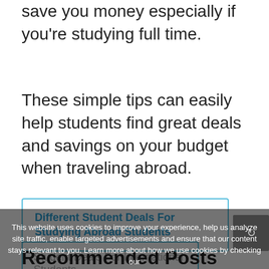save you money especially if you're studying full time.
These simple tips can easily help students find great deals and savings on your budget when traveling abroad.
Different Student Deals For Studying Abroad Students
Student Deals For International Students
This website uses cookies to improve your experience, help us analyze site traffic, enable targeted advertisements and ensure that our content stays relevant to you. Learn more about how we use cookies by checking our Privacy Policy. ACCEPT
Recommended Posts